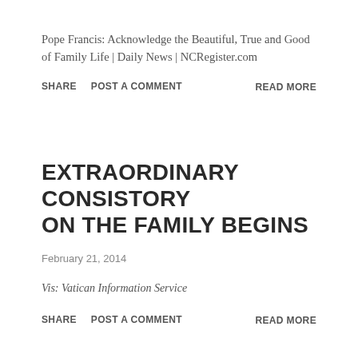Pope Francis: Acknowledge the Beautiful, True and Good of Family Life | Daily News | NCRegister.com
SHARE   POST A COMMENT   READ MORE
EXTRAORDINARY CONSISTORY ON THE FAMILY BEGINS
February 21, 2014
Vis: Vatican Information Service
SHARE   POST A COMMENT   READ MORE